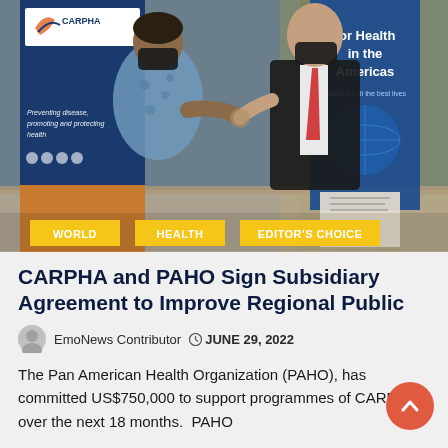[Figure (photo): Photo of two people wearing black masks doing an elbow bump at a signing ceremony, with CARPHA and PAHO banners in the background. Tags 'WORLD', 'HEALTH', and 'EDITOR'S CHOICE' appear at the bottom of the image.]
CARPHA and PAHO Sign Subsidiary Agreement to Improve Regional Public
EmoNews Contributor   JUNE 29, 2022
The Pan American Health Organization (PAHO), has committed US$750,000 to support programmes of CARPHA over the next 18 months.  PAHO